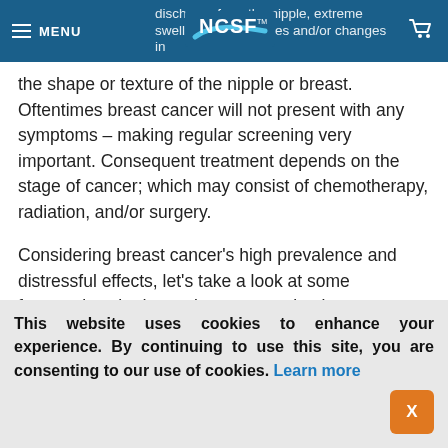MENU | NCSF (logo)
discharge from the nipple, extreme swelling, skin changes and/or changes in the shape or texture of the nipple or breast. Oftentimes breast cancer will not present with any symptoms – making regular screening very important. Consequent treatment depends on the stage of cancer; which may consist of chemotherapy, radiation, and/or surgery.
Considering breast cancer's high prevalence and distressful effects, let's take a look at some frequently asked questions concerning breast cancer risk and related issues.
This website uses cookies to enhance your experience. By continuing to use this site, you are consenting to our use of cookies. Learn more